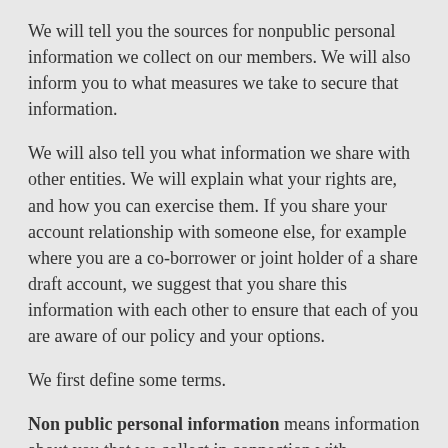We will tell you the sources for nonpublic personal information we collect on our members. We will also inform you to what measures we take to secure that information.
We will also tell you what information we share with other entities. We will explain what your rights are, and how you can exercise them. If you share your account relationship with someone else, for example where you are a co-borrower or joint holder of a share draft account, we suggest that you share this information with each other to ensure that each of you are aware of our policy and your options.
We first define some terms.
Non public personal information means information about you that we collect in connection with providing a financial product or service to you. Nonpublic personal information does not include information that is